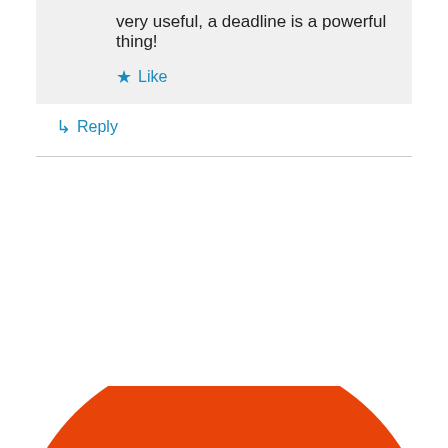very useful, a deadline is a powerful thing!
★ Like
↳ Reply
[Figure (logo): Orange circular Ambassador badge with colorful eye-like icons at the bottom and white text reading 'Ambassador']